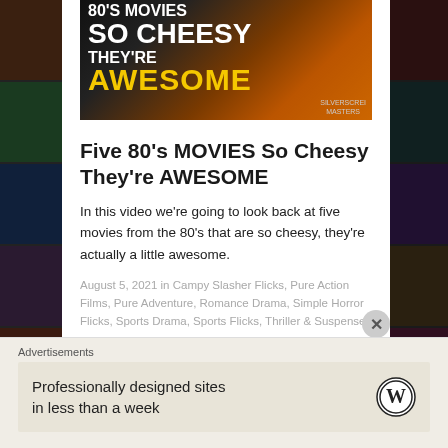[Figure (photo): Movie promo banner image with text overlay: '80's MOVIES / SO CHEESY / THEY'RE / AWESOME' in white and yellow bold font on a dark background with action imagery]
Five 80’s MOVIES So Cheesy They’re AWESOME
In this video we’re going to look back at five movies from the 80’s that are so cheesy, they’re actually a little awesome.
August 5, 2021 in Campy Slasher Flicks, Pure Action Films, Pure Adventure, Romance Drama, Simple Horror Flicks, Sports Drama, Sports Flicks, Thriller & Suspense.
Advertisements
Professionally designed sites in less than a week